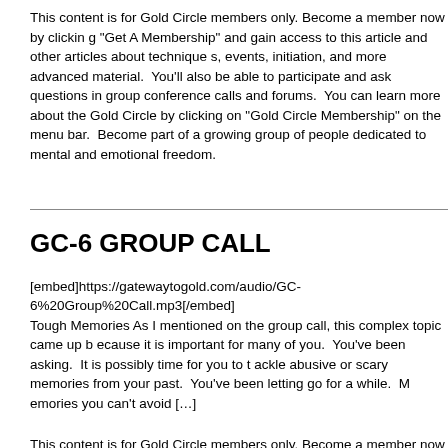This content is for Gold Circle members only. Become a member now by clicking "Get A Membership" and gain access to this article and other articles about techniques, events, initiation, and more advanced material. You'll also be able to participate and ask questions in group conference calls and forums. You can learn more about the Gold Circle by clicking on "Gold Circle Membership" on the menu bar. Become part of a growing group of people dedicated to mental and emotional freedom.
GC-6 GROUP CALL
[embed]https://gatewaytogold.com/audio/GC-6%20Group%20Call.mp3[/embed] Tough Memories As I mentioned on the group call, this complex topic came up because it is important for many of you. You've been asking. It is possibly time for you to tackle abusive or scary memories from your past. You've been letting go for a while. Memories you can't avoid […]
This content is for Gold Circle members only. Become a member now by clicking "Get A Membership" and gain access to this article and other articles about techniques, events, initiation, and more advanced material. You'll also be able to participate and ask questions in group conference calls and forums. You can learn more about the Gold Circle by clicking on "Gold Circle Membership" on the menu bar. Become part of a growing group of people dedicated to mental and emotional freedom.